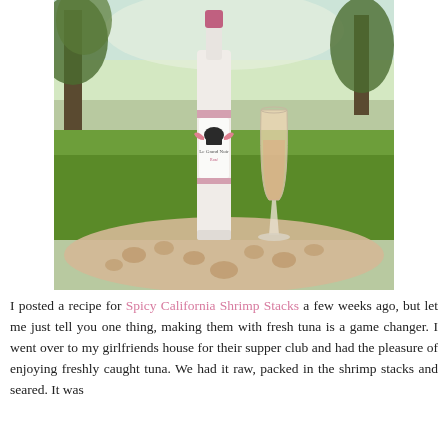[Figure (photo): A bottle of Le Grand Noir rosé wine and a tall flute glass filled with pink rosé wine, set outdoors on a decorative lace-like surface with a green grassy lawn and trees in the background.]
I posted a recipe for Spicy California Shrimp Stacks a few weeks ago, but let me just tell you one thing, making them with fresh tuna is a game changer. I went over to my girlfriends house for their supper club and had the pleasure of enjoying freshly caught tuna. We had it raw, packed in the shrimp stacks and seared. It was